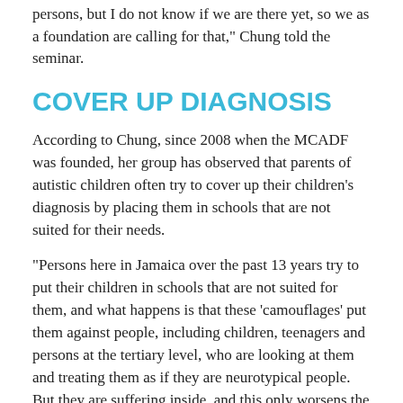persons, but I do not know if we are there yet, so we as a foundation are calling for that,” Chung told the seminar.
COVER UP DIAGNOSIS
According to Chung, since 2008 when the MCADF was founded, her group has observed that parents of autistic children often try to cover up their children’s diagnosis by placing them in schools that are not suited for their needs.
“Persons here in Jamaica over the past 13 years try to put their children in schools that are not suited for them, and what happens is that these ‘camouflages’ put them against people, including children, teenagers and persons at the tertiary level, who are looking at them and treating them as if they are neurotypical people. But they are suffering inside, and this only worsens the scenario,” said Chung.
read more